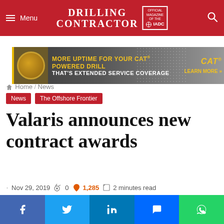Menu | DRILLING CONTRACTOR — Official Magazine of the IADC
[Figure (infographic): CAT advertisement banner: MORE UPTIME FOR YOUR CAT POWERED DRILL — THAT'S EXTENDED SERVICE COVERAGE. CAT LEARN MORE >>]
Home / News
News | The Offshore Frontier
Valaris announces new contract awards
Nov 29, 2019 · 0 comments · 1,285 hot · 2 minutes read